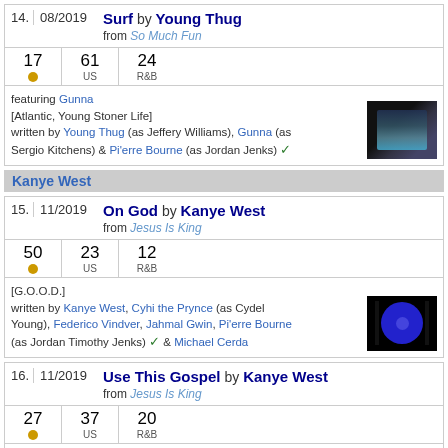| # | Date | Song | Stats | Info |
| --- | --- | --- | --- | --- |
| 14. | 08/2019 | Surf by Young Thug from So Much Fun | 17 / 61 US / 24 R&B | featuring Gunna [Atlantic, Young Stoner Life] written by Young Thug (as Jeffery Williams), Gunna (as Sergio Kitchens) & Pi'erre Bourne (as Jordan Jenks) ✓ |
| 15. | 11/2019 | On God by Kanye West from Jesus Is King | 50 / 23 US / 12 R&B | [G.O.O.D.] written by Kanye West, Cyhi the Prynce (as Cydel Young), Federico Vindver, Jahmal Gwin, Pi'erre Bourne (as Jordan Timothy Jenks) ✓ & Michael Cerda |
| 16. | 11/2019 | Use This Gospel by Kanye West from Jesus Is King | 27 / 37 US / 20 R&B | feat. Clipse & Kenny G [G.O.O.D.] written by Kanye West, Angel Lopez, Fonzworth Bentley (as Derek Watkins), Federico Vindver, No Malice (as |
Kanye West